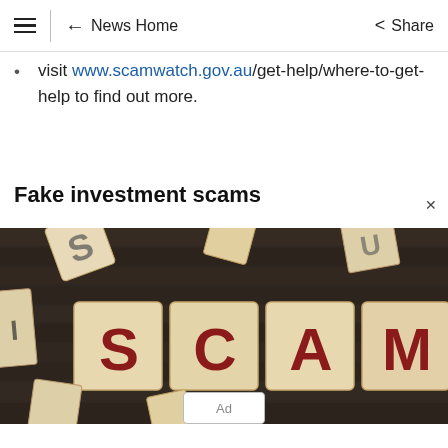≡ | ← News Home  < Share
visit www.scamwatch.gov.au/get-help/where-to-get-help to find out more.
Fake investment scams
[Figure (photo): Wooden letter blocks spelling out SCAM in red letters on a dark wooden surface, with other scattered letter blocks around.]
Ad